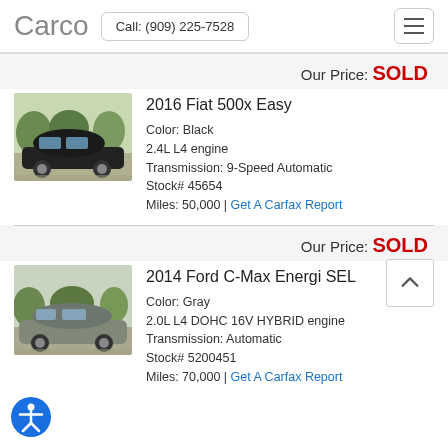Carco  Call: (909) 225-7528
Our Price: SOLD
[Figure (photo): Photo of a black 2016 Fiat 500x Easy parked in a lot]
2016 Fiat 500x Easy
Color: Black
2.4L L4 engine
Transmission: 9-Speed Automatic
Stock# 45654
Miles: 50,000 | Get A Carfax Report
Our Price: SOLD
[Figure (photo): Photo of a gray 2014 Ford C-Max Energi SEL parked]
2014 Ford C-Max Energi SEL
Color: Gray
2.0L L4 DOHC 16V HYBRID engine
Transmission: Automatic
Stock# 5200451
Miles: 70,000 | Get A Carfax Report